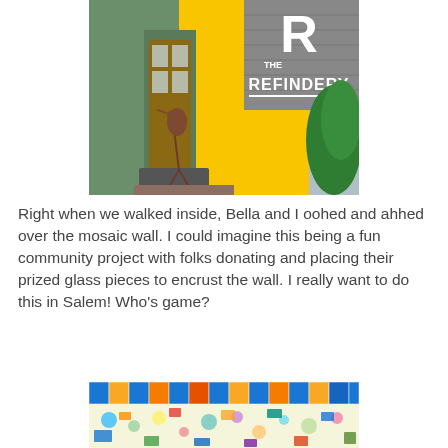[Figure (photo): Exterior of The Refinery shop with yellow siding, a wooden door, a sign with large 'R' and 'THE REFINERY' text, a metal bird sculpture near the entrance, and green shrubs on the right.]
Right when we walked inside, Bella and I oohed and ahhed over the mosaic wall. I could imagine this being a fun community project with folks donating and placing their prized glass pieces to encrust the wall. I really want to do this in Salem! Who's game?
[Figure (photo): Close-up of a colorful mosaic wall with blue, yellow, orange tiles and assorted glass pieces.]